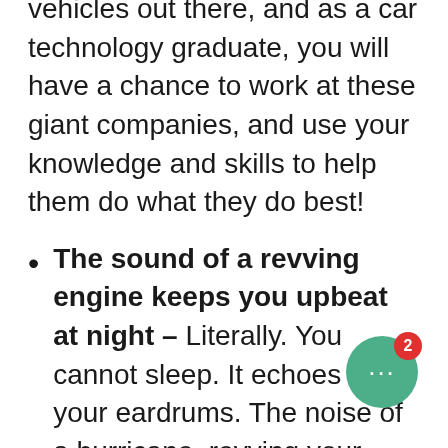vehicles out there, and as a car technology graduate, you will have a chance to work at these giant companies, and use your knowledge and skills to help them do what they do best!
The sound of a revving engine keeps you upbeat at night – Literally. You cannot sleep. It echoes in your eardrums. The noise of a hurricane, revving your great enthusiasm, rotating your head at 5 thousand RPM. An engine with the strength of thousand horses makes you want to go wild. Yet, the si... thing you want to know is how... made.